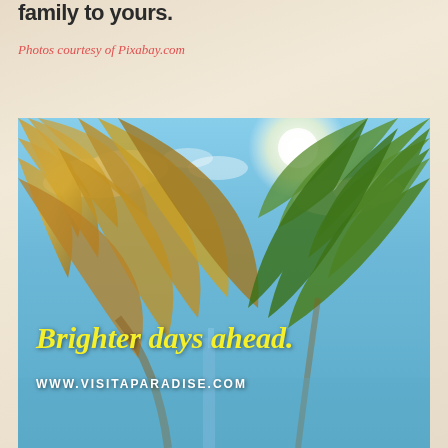family to yours.
Photos courtesy of Pixabay.com
[Figure (photo): Upward looking view through palm trees against a bright blue sky with sunlight. Text overlay reads 'Brighter days ahead.' in yellow italic script, and 'WWW.VISITAPARADISE.COM' in white bold lettering below.]